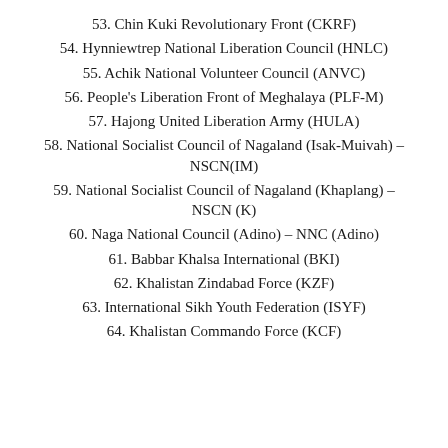53. Chin Kuki Revolutionary Front (CKRF)
54. Hynniewtrep National Liberation Council (HNLC)
55. Achik National Volunteer Council (ANVC)
56. People's Liberation Front of Meghalaya (PLF-M)
57. Hajong United Liberation Army (HULA)
58. National Socialist Council of Nagaland (Isak-Muivah) – NSCN(IM)
59. National Socialist Council of Nagaland (Khaplang) – NSCN (K)
60. Naga National Council (Adino) – NNC (Adino)
61. Babbar Khalsa International (BKI)
62. Khalistan Zindabad Force (KZF)
63. International Sikh Youth Federation (ISYF)
64. Khalistan Commando Force (KCF)